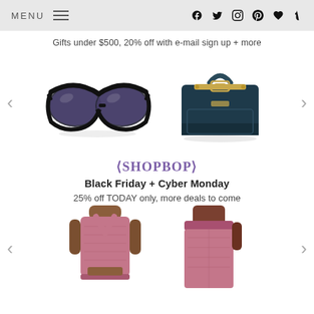MENU | social icons: facebook, twitter, instagram, pinterest, heart, tumblr
Gifts under $500, 20% off with e-mail sign up + more
[Figure (photo): Product carousel showing large black cat-eye sunglasses on the left and a dark teal structured leather handbag with gold hardware on the right, with left and right navigation arrows]
[Figure (logo): SHOPBOP logo in purple with decorative brackets]
Black Friday + Cyber Monday
25% off TODAY only, more deals to come
[Figure (photo): Product carousel showing two models wearing pink/mauve athletic wear: a cropped tank top on the left and high-waist leggings on the right, with left and right navigation arrows]